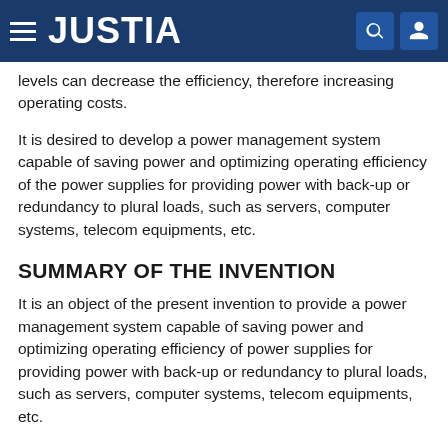JUSTIA
levels can decrease the efficiency, therefore increasing operating costs.
It is desired to develop a power management system capable of saving power and optimizing operating efficiency of the power supplies for providing power with back-up or redundancy to plural loads, such as servers, computer systems, telecom equipments, etc.
SUMMARY OF THE INVENTION
It is an object of the present invention to provide a power management system capable of saving power and optimizing operating efficiency of power supplies for providing power with back-up or redundancy to plural loads, such as servers, computer systems, telecom equipments, etc.